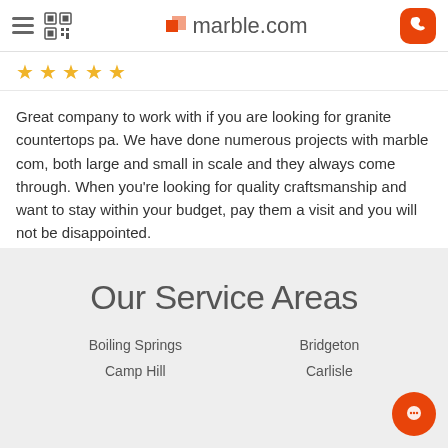marble.com
[Figure (other): Five gold star rating row]
Great company to work with if you are looking for granite countertops pa. We have done numerous projects with marble com, both large and small in scale and they always come through. When you're looking for quality craftsmanship and want to stay within your budget, pay them a visit and you will not be disappointed.
Our Service Areas
Boiling Springs
Bridgeton
Camp Hill
Carlisle